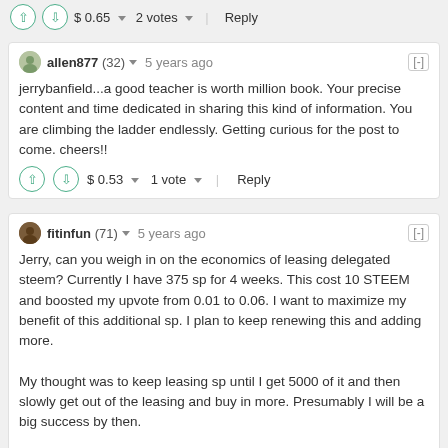$ 0.65  2 votes  Reply
allen877 (32)  5 years ago
jerrybanfield...a good teacher is worth million book. Your precise content and time dedicated in sharing this kind of information. You are climbing the ladder endlessly. Getting curious for the post to come. cheers!!
$ 0.53  1 vote  Reply
fitinfun (71)  5 years ago
Jerry, can you weigh in on the economics of leasing delegated steem? Currently I have 375 sp for 4 weeks. This cost 10 STEEM and boosted my upvote from 0.01 to 0.06. I want to maximize my benefit of this additional sp. I plan to keep renewing this and adding more.

My thought was to keep leasing sp until I get 5000 of it and then slowly get out of the leasing and buy in more. Presumably I will be a big success by then.

Any ideas from you would be most appreciated. Keep in mind I cannot buy in nor can many of us little minnows. Thank you for all you do for us :)
$ 0.46  4 votes  Reply